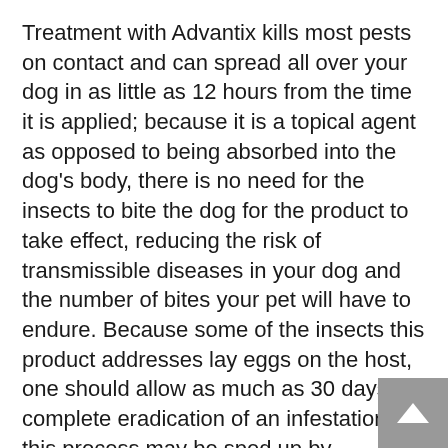Treatment with Advantix kills most pests on contact and can spread all over your dog in as little as 12 hours from the time it is applied; because it is a topical agent as opposed to being absorbed into the dog's body, there is no need for the insects to bite the dog for the product to take effect, reducing the risk of transmissible diseases in your dog and the number of bites your pet will have to endure. Because some of the insects this product addresses lay eggs on the host, one should allow as much as 30 days for complete eradication of an infestation; this process may be sped up by thoroughly combing or brushing out your dog with an implement not used on them before being treated.
The active ingredients in this product are imidacloprid, permethrin, and pyriproxyfen. It is available for both dogs and cats in packages of two, four, or six pre-measured doses, differentiated by the size, age, and weight of the pet in question. According to the